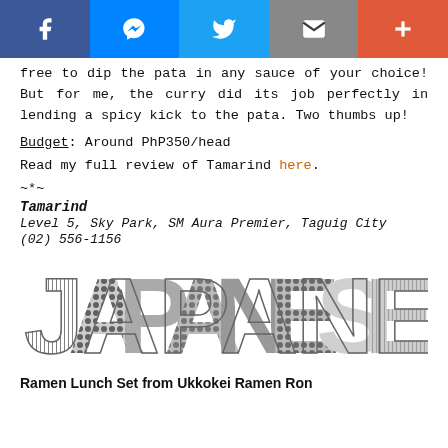[Figure (other): Social share bar with Facebook, Messenger, Twitter, Email, and Plus buttons]
free to dip the pata in any sauce of your choice! But for me, the curry did its job perfectly in lending a spicy kick to the pata. Two thumbs up!
Budget: Around PhP350/head
Read my full review of Tamarind here.
~*~
Tamarind
Level 5, Sky Park, SM Aura Premier, Taguig City
(02) 556-1156
[Figure (illustration): Large decorative text reading JAPANESE in bold letters with food/texture imagery inside the letters]
Ramen Lunch Set from Ukkokei Ramen Ron